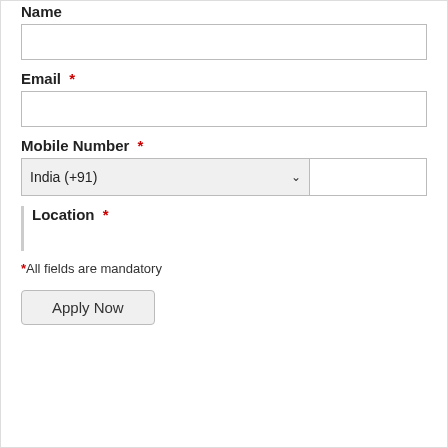Name
[Figure (other): Empty text input field for Name]
Email *
[Figure (other): Empty text input field for Email]
Mobile Number *
[Figure (other): Mobile number input with country selector showing India (+91) and a chevron dropdown]
Location *
*All fields are mandatory
[Figure (other): Apply Now button]